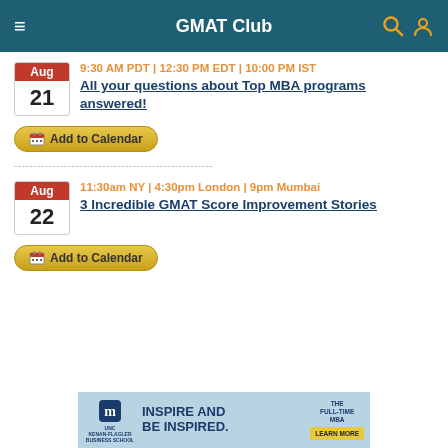GMAT Club
9:30 AM PDT | 12:30 PM EDT | 10:00 PM IST
All your questions about Top MBA programs answered!
Aug 21
Add to Calendar
----------------------------------------------------
11:30am NY | 4:30pm London | 9pm Mumbai
3 Incredible GMAT Score Improvement Stories
Aug 22
Add to Calendar
[Figure (infographic): UNC Kenan-Flagler Business School ad banner: INSPIRE AND BE INSPIRED. THE FULL-TIME MBA. LEARN MORE button.]